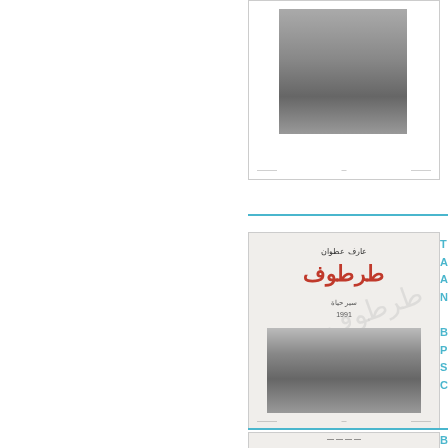[Figure (photo): Top book cover scan showing a bridge photograph, with Arabic text footer and catalog metadata]
[Figure (photo): Middle book cover scan: Arabic title page showing author name in Arabic, main title 'طرطوف' in red Arabic script, subtitle 'سير حياة', year 1991, and a black-and-white photograph of two men. Watermark stamp visible.]
[Figure (photo): Bottom book cover scan partially visible, showing Arabic text]